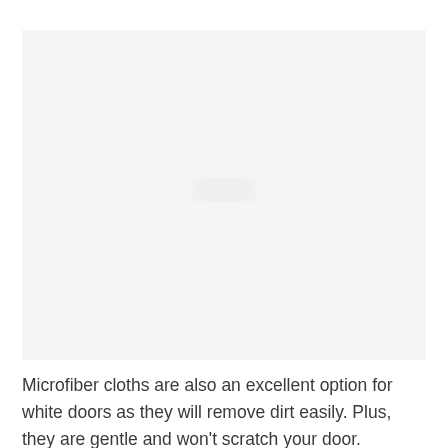[Figure (photo): A mostly blank/faded image area, light gray background, appears to be a photo of a white door or surface that is very washed out/overexposed.]
Microfiber cloths are also an excellent option for white doors as they will remove dirt easily. Plus, they are gentle and won't scratch your door.